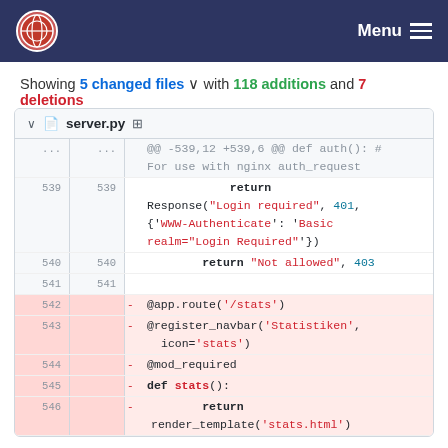Menu
Showing 5 changed files with 118 additions and 7 deletions
server.py diff showing lines 539-546 with deletions of @app.route, @register_navbar, @mod_required, def stats(), and return render_template code